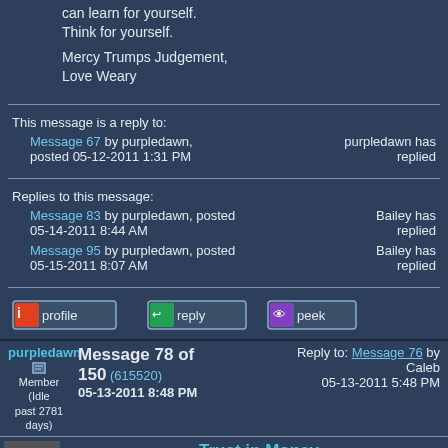can learn for yourself. Think for yourself.
Mercy Trumps Judgement, Love Weary
This message is a reply to:
Message 67 by purpledawn, posted 05-12-2011 1:31 PM
purpledawn has replied
Replies to this message:
Message 83 by purpledawn, posted 05-14-2011 8:44 AM
Bailey has replied
Message 95 by purpledawn, posted 05-15-2011 8:07 AM
Bailey has replied
purpledawn
Member (Idle past 2781 days)
Message 78 of 150 (615520)
05-13-2011 8:48 PM
Reply to: Message 76 by Caleb
05-13-2011 5:48 PM
Trust in Money
quote: